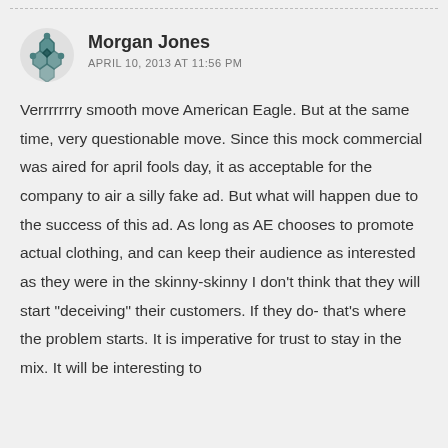Morgan Jones
APRIL 10, 2013 AT 11:56 PM
Verrrrrrry smooth move American Eagle. But at the same time, very questionable move. Since this mock commercial was aired for april fools day, it as acceptable for the company to air a silly fake ad. But what will happen due to the success of this ad. As long as AE chooses to promote actual clothing, and can keep their audience as interested as they were in the skinny-skinny I don't think that they will start "deceiving" their customers. If they do- that's where the problem starts. It is imperative for trust to stay in the mix. It will be interesting to